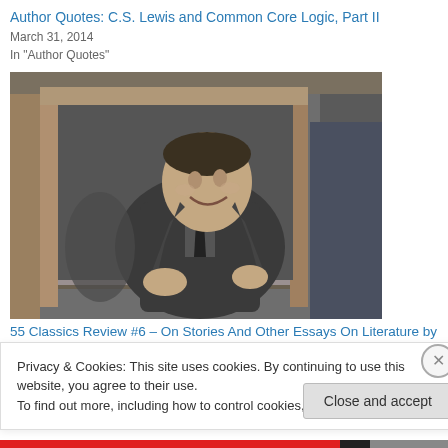Author Quotes: C.S. Lewis and Common Core Logic, Part II
March 31, 2014
In "Author Quotes"
[Figure (photo): Black and white photograph of C.S. Lewis, a middle-aged man in a suit jacket, smiling, seated in front of a doorframe.]
55 Classics Review #6 – On Stories And Other Essays On Literature by
Privacy & Cookies: This site uses cookies. By continuing to use this website, you agree to their use. To find out more, including how to control cookies, see here: Cookie Policy